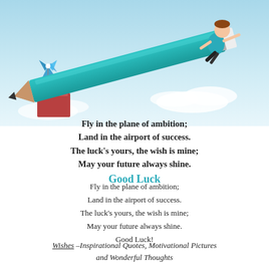[Figure (illustration): A child riding a large teal/turquoise pencil as if it were an airplane, soaring through a blue sky with clouds. On the left are stacked books and a blue pinwheel. A green number 4 is visible in the sky. The pencil is flying diagonally upward.]
Fly in the plane of ambition;
Land in the airport of success.
The luck's yours, the wish is mine;
May your future always shine.
Good Luck
Fly in the plane of ambition;
Land in the airport of success.
The luck's yours, the wish is mine;
May your future always shine.
Good Luck!
Wishes –Inspirational Quotes, Motivational Pictures and Wonderful Thoughts